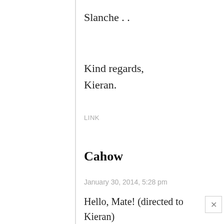Slanche . .
Kind regards,
Kieran.
LINK
Cahow
January 30, 2014, 5:28 pm
Hello, Mate! (directed to Kieran)
Completely Off Topic: you wrote, “ Many Brits don’t think that way because of the TV and media.”
Ha! You’re SO correct! When we go back to